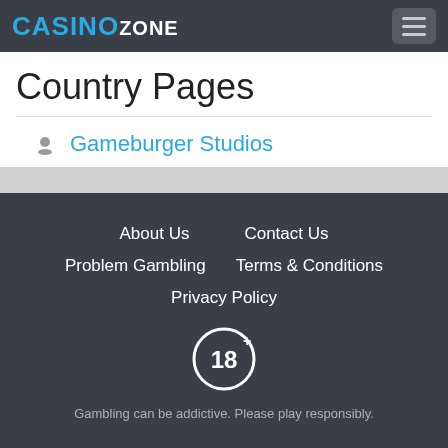CASINO ZONE
Country Pages
Gameburger Studios
About Us | Contact Us | Problem Gambling | Terms & Conditions | Privacy Policy | Gambling can be addictive. Please play responsibly.